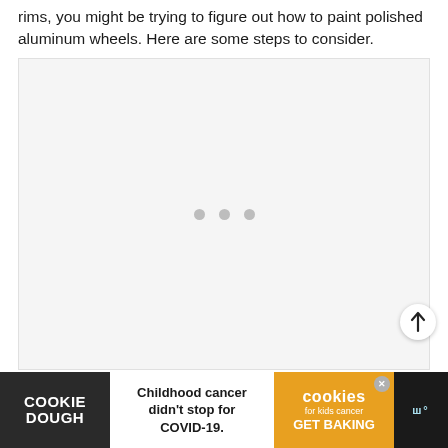rims, you might be trying to figure out how to paint polished aluminum wheels. Here are some steps to consider.
[Figure (photo): Large image placeholder area with a light gray background and three gray loading dots in the center, indicating an image that has not yet loaded.]
[Figure (other): Scroll-to-top button with an upward arrow icon, positioned at the bottom right of the content area.]
[Figure (infographic): Advertisement banner at the bottom of the page. Left section: dark background with 'COOKIE DOUGH' in white bold text. Middle section: white background with text 'Childhood cancer didn't stop for COVID-19.' in bold black. Right section: orange background with 'cookies for kids cancer GET BAKING' text in white. Far right: dark background with stylized brand logo text.]